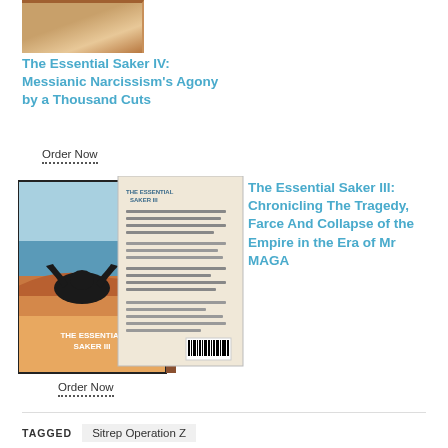[Figure (photo): Top portion of book cover for The Essential Saker IV, showing brown/tan book spine and cover edge]
The Essential Saker IV: Messianic Narcissism's Agony by a Thousand Cuts
Order Now
[Figure (photo): Two books shown: front cover of The Essential Saker III with blue sky and silhouette of figure, and back cover showing text and barcode]
The Essential Saker III: Chronicling The Tragedy, Farce And Collapse of the Empire in the Era of Mr MAGA
Order Now
TAGGED
Sitrep Operation Z